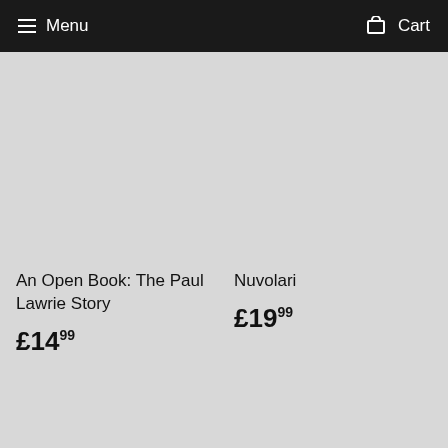Menu  Cart
An Open Book: The Paul Lawrie Story
£14.99
Nuvolari
£19.99